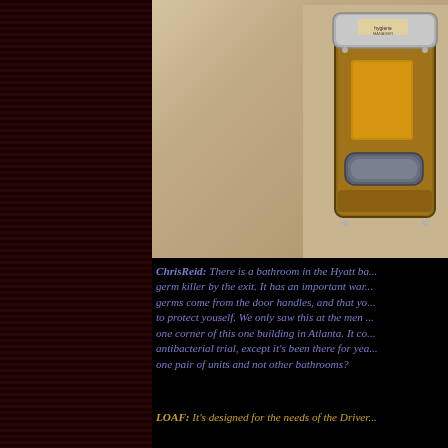[Figure (photo): Photo of a wall-mounted soap/sanitizer dispenser in amber/brown plastic casing mounted on a beige tiled wall. The dispenser has a clear window showing the product level and a push button at the bottom.]
ChrisReid: There is a bathroom in the Hyatt ba... germ killer by the exit. It has an important war... germs come from the door handles, and that yo... to protect youself. We only saw this at the men ... one corner of this one building in Atlanta. It co... antibacterial trial, except it's been there for yea... one pair of units and not other bathrooms?
LOAF: It's designed for the needs of the Driver...